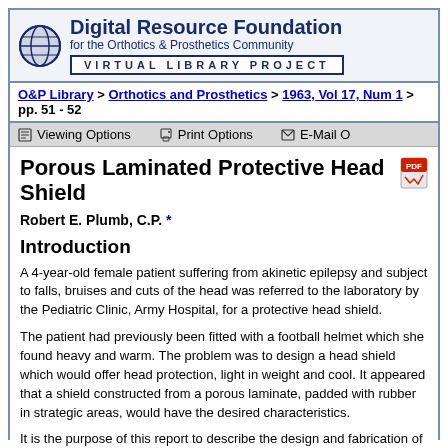[Figure (logo): Digital Resource Foundation for the Orthotics & Prosthetics Community logo with globe icon and VIRTUAL LIBRARY PROJECT banner]
O&P Library > Orthotics and Prosthetics > 1963, Vol 17, Num 1 > pp. 51 - 52
Porous Laminated Protective Head Shield
Robert E. Plumb, C.P. *
Introduction
A 4-year-old female patient suffering from akinetic epilepsy and subject to falls and bruises and cuts of the head was referred to the laboratory by the Pediatric Clinic, Army Hospital, for a protective head shield.
The patient had previously been fitted with a football helmet which she found heavy and warm. The problem was to design a head shield which would offer head protection, light in weight and cool. It appeared that a shield constructed from a porous laminate, padded with rubber in strategic areas, would have the desired characteristics.
It is the purpose of this report to describe the design and fabrication of such